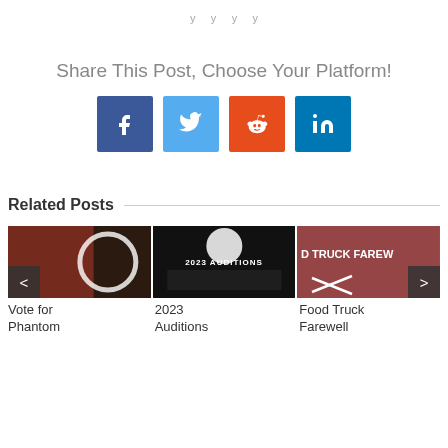Share This Post, Choose Your Platform!
[Figure (infographic): Social media sharing buttons: Facebook (blue), Twitter (light blue), Reddit (orange-red), LinkedIn (blue)]
Related Posts
[Figure (photo): Vote for Phantom - marching band performers with large letter O overlay]
Vote for
Phantom
[Figure (photo): 2023 Auditions - black and white photo of marching band with text 2023 AUDITIONS]
2023
Auditions
[Figure (photo): Food Truck Farewell - red banner on building with crossed spatulas graphic]
Food Truck
Farewell